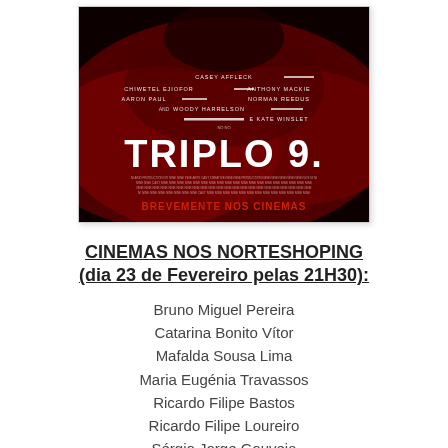[Figure (illustration): Movie poster for 'Triplo 9' (Triple 9) featuring a dark red smoke background with actor names (Casey Affleck, Chiwetel Ejiofor, Anthony Mackie, Aaron Paul, Norman Reedus, Woody Harrelson, Kate Winslet) and the text 'BREVEMENTE NOS CINEMAS' in red at the bottom.]
CINEMAS NOS NORTESHOPING (dia 23 de Fevereiro pelas 21H30):
Bruno Miguel Pereira
Catarina Bonito Vítor
Mafalda Sousa Lima
Maria Eugénia Travassos
Ricardo Filipe Bastos
Ricardo Filipe Loureiro
Sérgio Jorge Gouveia
Teresa Sofia Ferreira (partially visible)